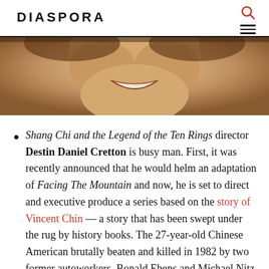DIASPORA
[Figure (photo): Close-up photograph of a smiling person, cropped to show the lower face and smile, with a sepia/warm tone.]
Shang Chi and the Legend of the Ten Rings director Destin Daniel Cretton is busy man. First, it was recently announced that he would helm an adaptation of Facing The Mountain and now, he is set to direct and executive produce a series based on the story of Vincent Chin — a story that has been swept under the rug by history books. The 27-year-old Chinese American brutally beaten and killed in 1982 by two former autoworkers, Ronald Ebens and Michael Nitz, who blamed him for the economic